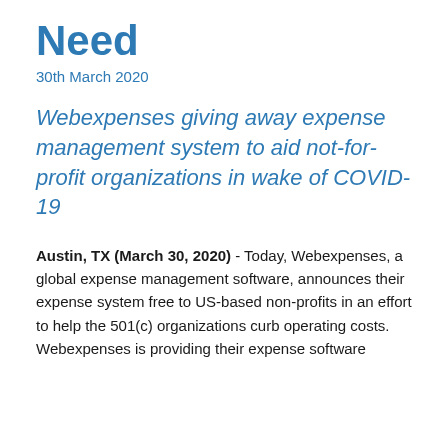Need
30th March 2020
Webexpenses giving away expense management system to aid not-for-profit organizations in wake of COVID-19
Austin, TX (March 30, 2020) - Today, Webexpenses, a global expense management software, announces their expense system free to US-based non-profits in an effort to help the 501(c) organizations curb operating costs. Webexpenses is providing their expense software